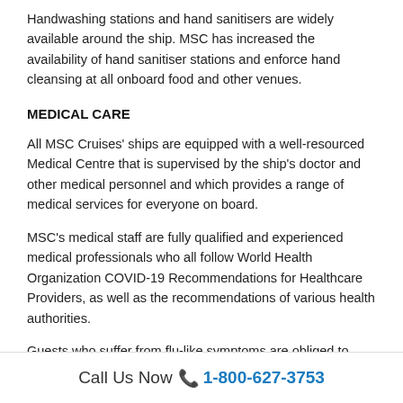Handwashing stations and hand sanitisers are widely available around the ship. MSC has increased the availability of hand sanitiser stations and enforce hand cleansing at all onboard food and other venues.
MEDICAL CARE
All MSC Cruises' ships are equipped with a well-resourced Medical Centre that is supervised by the ship's doctor and other medical personnel and which provides a range of medical services for everyone on board.
MSC's medical staff are fully qualified and experienced medical professionals who all follow World Health Organization COVID-19 Recommendations for Healthcare Providers, as well as the recommendations of various health authorities.
Guests who suffer from flu-like symptoms are obliged to stay in their cabin and should contact the onboard Medical Centre as
Call Us Now 📞 1-800-627-3753